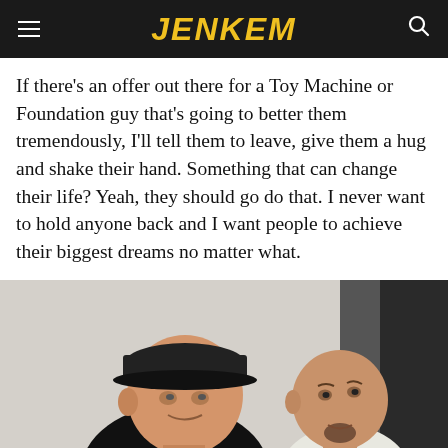JENKEM
If there's an offer out there for a Toy Machine or Foundation guy that's going to better them tremendously, I'll tell them to leave, give them a hug and shake their hand. Something that can change their life? Yeah, they should go do that. I never want to hold anyone back and I want people to achieve their biggest dreams no matter what.
[Figure (photo): Two men photographed against a light background. On the left, a heavyset man wearing a black cap and black t-shirt holds something in his hand. On the right, a thinner man with a shaved head, facial hair, and neck tattoos wears a white t-shirt and looks sideways.]